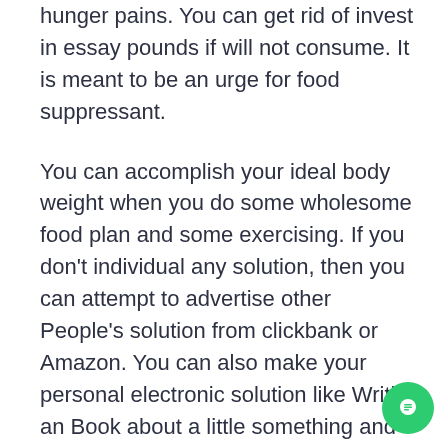hunger pains. You can get rid of invest in essay pounds if will not consume. It is meant to be an urge for food suppressant.
You can accomplish your ideal body weight when you do some wholesome food plan and some exercising. If you don't individual any solution, then you can attempt to advertise other People's solution from clickbank or Amazon. You can also make your personal electronic solution like Writing an Book about a little something and offer it on-line. I hope figuring out these pitfalls assist you glance at yourself differently. Opposite